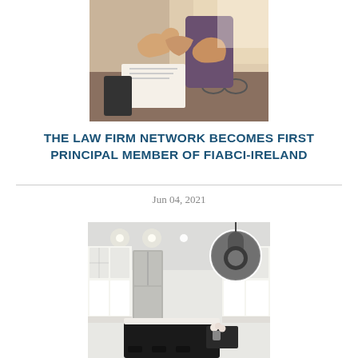[Figure (photo): Two people shaking hands over a desk with documents, glasses, and office items visible]
THE LAW FIRM NETWORK BECOMES FIRST PRINCIPAL MEMBER OF FIABCI-IRELAND
Jun 04, 2021
[Figure (photo): Modern white kitchen interior with dark island countertop, stainless steel appliances, and a circular inset detail image of a pendant light]